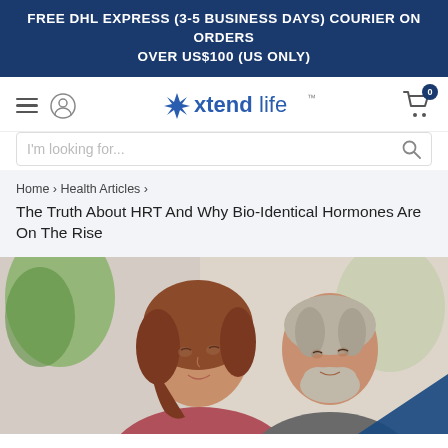FREE DHL EXPRESS (3-5 BUSINESS DAYS) COURIER ON ORDERS OVER US$100 (US ONLY)
[Figure (logo): Xtendlife logo with navigation icons (hamburger menu, user icon, cart with badge 0)]
I'm looking for...
Home › Health Articles › The Truth About HRT And Why Bio-Identical Hormones Are On The Rise
The Truth About HRT And Why Bio-Identical Hormones Are On The Rise
[Figure (photo): An older couple, a woman with reddish-brown hair and a man with a grey beard, looking at something together and smiling. Green plants visible in background.]